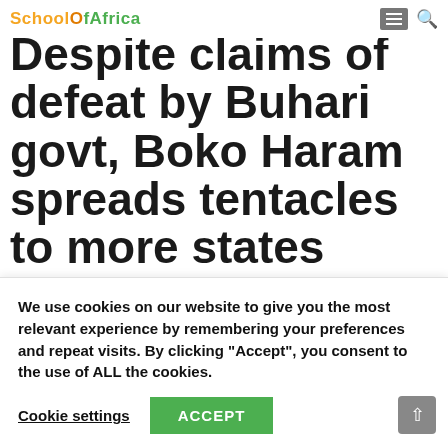SchoolOf Africa
Despite claims of defeat by Buhari govt, Boko Haram spreads tentacles to more states
Despite repeated claims by the President Muhammadu Buhari-led Federal Government that Boko Haram terrorists have been degraded and
We use cookies on our website to give you the most relevant experience by remembering your preferences and repeat visits. By clicking "Accept", you consent to the use of ALL the cookies.
Cookie settings   ACCEPT